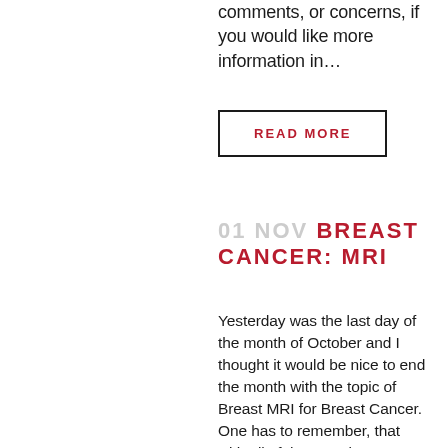comments, or concerns, if you would like more information in…
READ MORE
01 NOV BREAST CANCER: MRI
Yesterday was the last day of the month of October and I thought it would be nice to end the month with the topic of Breast MRI for Breast Cancer. One has to remember, that with all of these tools, Ultrasound, Mammography, PET, MRI, Genetic Testing, and Hormone Testing that none of